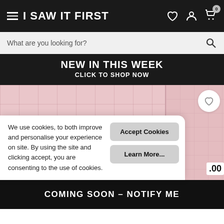I SAW IT FIRST
What are you looking for?
NEW IN THIS WEEK
CLICK TO SHOP NOW
[Figure (photo): Split product image showing pink tiled background with beauty/fashion products on the left panel and a pink item on the right panel with a wishlist heart button and partial price .00]
We use cookies, to both improve and personalise your experience on site. By using the site and clicking accept, you are consenting to the use of cookies.
Accept Cookies
Learn More...
COMING SOON – NOTIFY ME